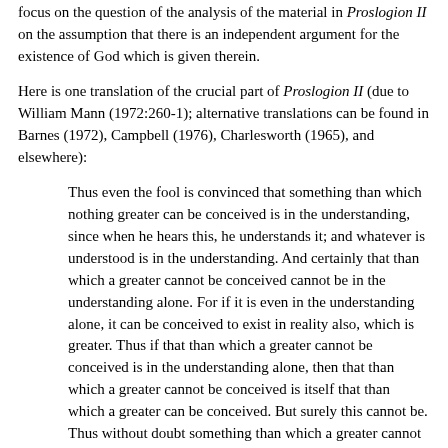focus on the question of the analysis of the material in Proslogion II on the assumption that there is an independent argument for the existence of God which is given therein.
Here is one translation of the crucial part of Proslogion II (due to William Mann (1972:260-1); alternative translations can be found in Barnes (1972), Campbell (1976), Charlesworth (1965), and elsewhere):
Thus even the fool is convinced that something than which nothing greater can be conceived is in the understanding, since when he hears this, he understands it; and whatever is understood is in the understanding. And certainly that than which a greater cannot be conceived cannot be in the understanding alone. For if it is even in the understanding alone, it can be conceived to exist in reality also, which is greater. Thus if that than which a greater cannot be conceived is in the understanding alone, then that than which a greater cannot be conceived is itself that than which a greater can be conceived. But surely this cannot be. Thus without doubt something than which a greater cannot be conceived exists, both in the understanding and in reality.